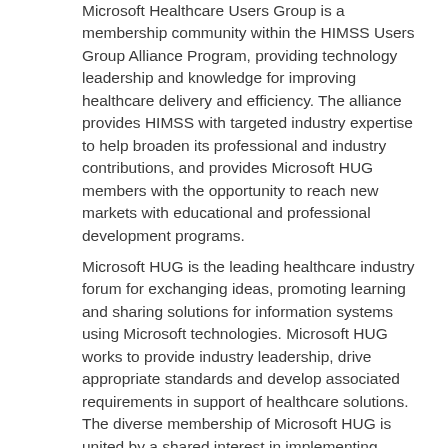Microsoft Healthcare Users Group is a membership community within the HIMSS Users Group Alliance Program, providing technology leadership and knowledge for improving healthcare delivery and efficiency. The alliance provides HIMSS with targeted industry expertise to help broaden its professional and industry contributions, and provides Microsoft HUG members with the opportunity to reach new markets with educational and professional development programs.
Microsoft HUG is the leading healthcare industry forum for exchanging ideas, promoting learning and sharing solutions for information systems using Microsoft technologies. Microsoft HUG works to provide industry leadership, drive appropriate standards and develop associated requirements in support of healthcare solutions. The diverse membership of Microsoft HUG is united by a shared interest in implementing vendor- and user-developed software based on Microsoft technology to improve quality and efficiency in healthcare. More information can be found on Microsoft HUG's Web site at http://www.mshug.org.